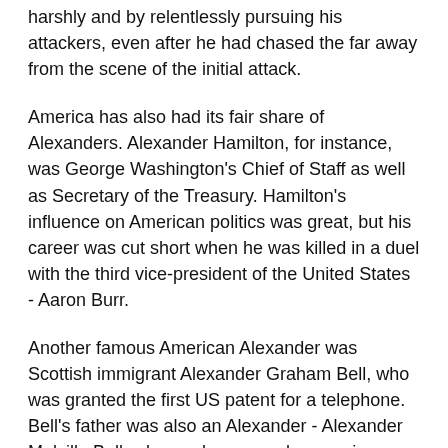harshly and by relentlessly pursuing his attackers, even after he had chased the far away from the scene of the initial attack.
America has also had its fair share of Alexanders. Alexander Hamilton, for instance, was George Washington's Chief of Staff as well as Secretary of the Treasury. Hamilton's influence on American politics was great, but his career was cut short when he was killed in a duel with the third vice-president of the United States - Aaron Burr.
Another famous American Alexander was Scottish immigrant Alexander Graham Bell, who was granted the first US patent for a telephone. Bell's father was also an Alexander - Alexander Melville Bell, who made many advances in communication for the deaf.
Several famous others have also borne the name Alexander. Among them are the Russian poet, novelist and duelist Alexander Pushkin and France's Alexander Dumas, whose stories brought many of the struggles of the French Revolution to light.